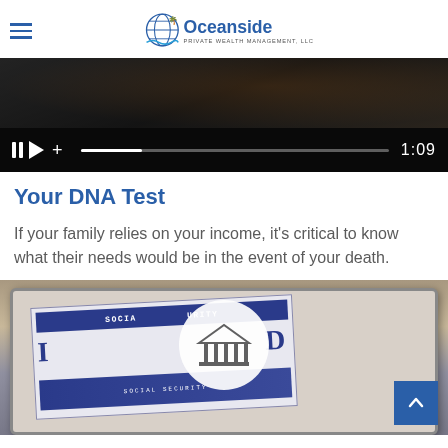Oceanside Private Wealth Management, LLC
[Figure (screenshot): Video player thumbnail showing a dark scene with video controls (pause, play, plus icons) and a progress bar, displaying timestamp 1:09]
Your DNA Test
If your family relies on your income, it’s critical to know what their needs would be in the event of your death.
[Figure (photo): Close-up photo of a Social Security card on a tablet device, with a government building icon overlay and a blue scroll-to-top button in the bottom right corner]